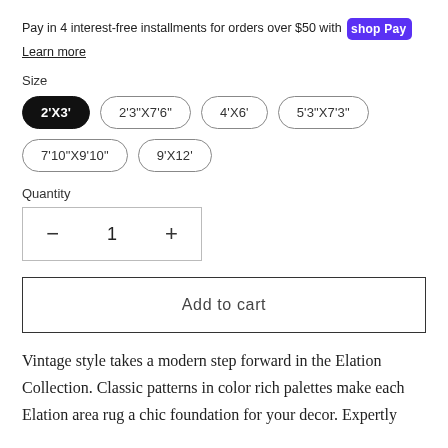Pay in 4 interest-free installments for orders over $50 with Shop Pay
Learn more
Size
2'X3' (selected)
2'3"X7'6"
4'X6'
5'3"X7'3"
7'10"X9'10"
9'X12'
Quantity
1
Add to cart
Vintage style takes a modern step forward in the Elation Collection. Classic patterns in color rich palettes make each Elation area rug a chic foundation for your decor. Expertly